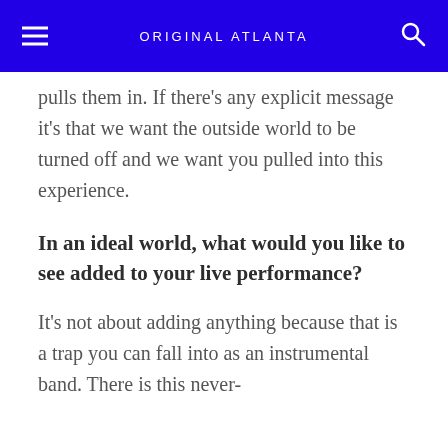ORIGINAL ATLANTA
pulls them in. If there's any explicit message it's that we want the outside world to be turned off and we want you pulled into this experience.
In an ideal world, what would you like to see added to your live performance?
It's not about adding anything because that is a trap you can fall into as an instrumental band. There is this never-